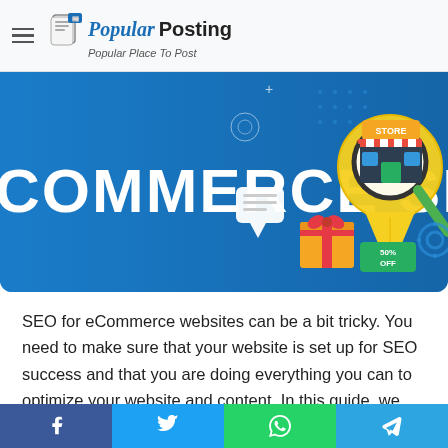Popular Posting — Popular Place To Post
[Figure (illustration): eCommerce SEO banner with blue background, large magnifying glass over a store map pin, shopping gift box, discount tag showing 50% OFF, speech bubble with lines, gear icon, and dotted patterns. Large white text reads 'COMMERCE SEO' on the left side.]
SEO for eCommerce websites can be a bit tricky. You need to make sure that your website is set up for SEO success and that you are doing everything you can to optimize your website and content. In this guide, we will walk you through the steps that you need to take to
[Figure (infographic): Social share bar at the bottom with four buttons: Facebook (blue), Twitter (light blue), WhatsApp (green), Telegram (blue).]